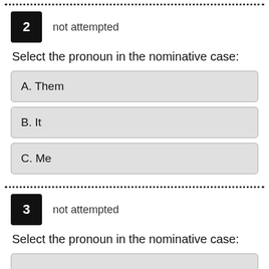2   not attempted
Select the pronoun in the nominative case:
A. Them
B. It
C. Me
3   not attempted
Select the pronoun in the nominative case: